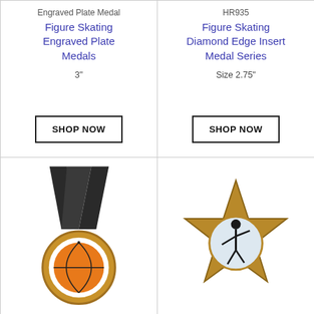Engraved Plate Medal
Figure Skating Engraved Plate Medals
3"
SHOP NOW
HR935
Figure Skating Diamond Edge Insert Medal Series
Size 2.75"
SHOP NOW
[Figure (photo): Basketball medal with black ribbon/lanyard and colorful circular insert showing basketball]
[Figure (photo): Figure skating star-shaped medal in bronze/gold with figure skater silhouette insert]